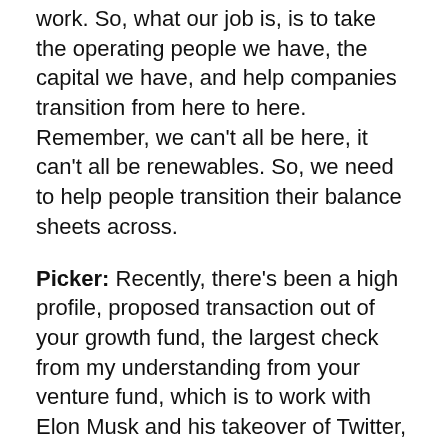work. So, what our job is, is to take the operating people we have, the capital we have, and help companies transition from here to here. Remember, we can't all be here, it can't all be renewables. So, we need to help people transition their balance sheets across.
Picker: Recently, there's been a high profile, proposed transaction out of your growth fund, the largest check from my understanding from your venture fund, which is to work with Elon Musk and his takeover of Twitter, contributing about $250 million worth of equity for that deal. What was the draw here? Why get involved with the Twitter takeover?